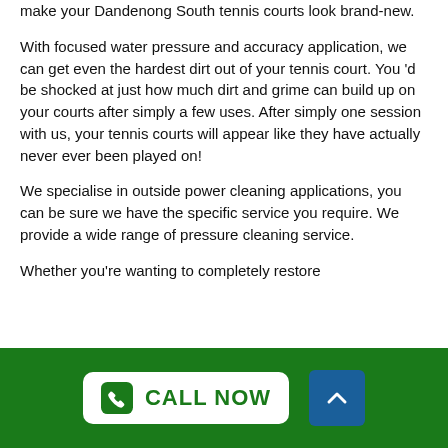make your Dandenong South tennis courts look brand-new.
With focused water pressure and accuracy application, we can get even the hardest dirt out of your tennis court. You 'd be shocked at just how much dirt and grime can build up on your courts after simply a few uses. After simply one session with us, your tennis courts will appear like they have actually never ever been played on!
We specialise in outside power cleaning applications, you can be sure we have the specific service you require. We provide a wide range of pressure cleaning service.
Whether you're wanting to completely restore
CALL NOW